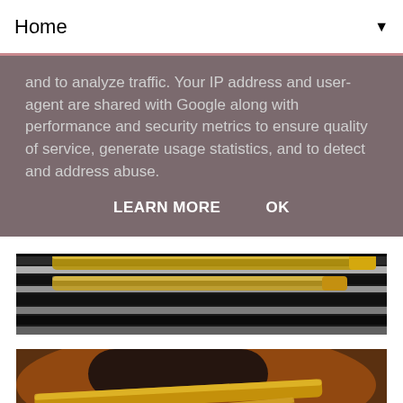Home ▼
and to analyze traffic. Your IP address and user-agent are shared with Google along with performance and security metrics to ensure quality of service, generate usage statistics, and to detect and address abuse.
LEARN MORE   OK
[Figure (photo): Close-up photo of gold makeup brushes on a black and white zebra print fabric background]
[Figure (photo): Close-up photo of gold makeup brushes with soft bristles on a zebra print fabric background with warm orange tones]